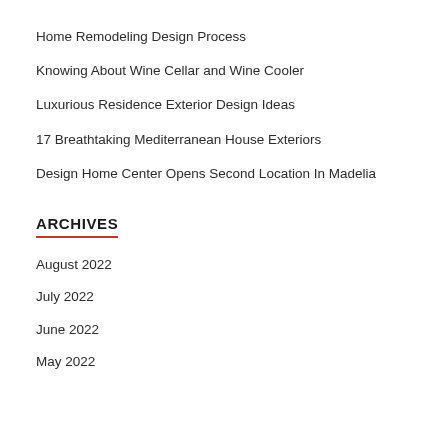Home Remodeling Design Process
Knowing About Wine Cellar and Wine Cooler
Luxurious Residence Exterior Design Ideas
17 Breathtaking Mediterranean House Exteriors
Design Home Center Opens Second Location In Madelia
ARCHIVES
August 2022
July 2022
June 2022
May 2022